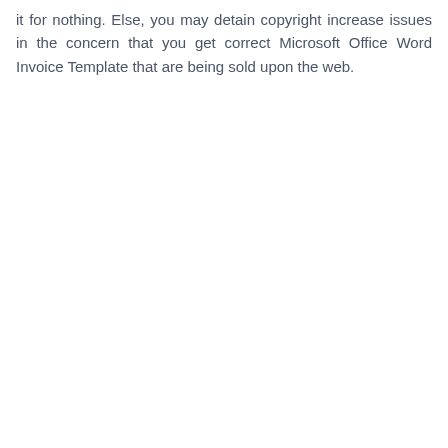it for nothing. Else, you may detain copyright increase issues in the concern that you get correct Microsoft Office Word Invoice Template that are being sold upon the web.